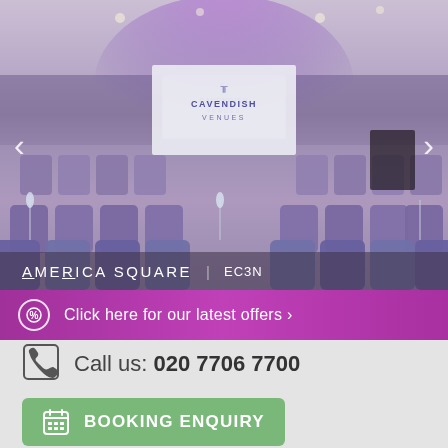[Figure (photo): Interior of America Square conference venue showing rows of purple chairs arranged theatre-style facing a large projection screen displaying the Cavendish Venues logo, with purple ambient lighting.]
AMERICA SQUARE | EC3N
Click here for our latest offers ›
Call us: 020 7706 7700
BOOKING ENQUIRY